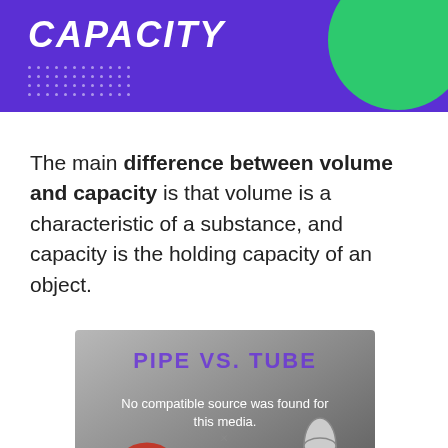[Figure (illustration): Purple banner header with bold italic white text 'CAPACITY', green circle in top right, dot grid pattern in lower left]
The main difference between volume and capacity is that volume is a characteristic of a substance, and capacity is the holding capacity of an object.
[Figure (screenshot): Video player showing 'PIPE VS. TUBE' with a red ring/pipe cross-section on left, a grey X icon in the middle, and a cylindrical tube on right. Message reads: No compatible source was found for this media.]